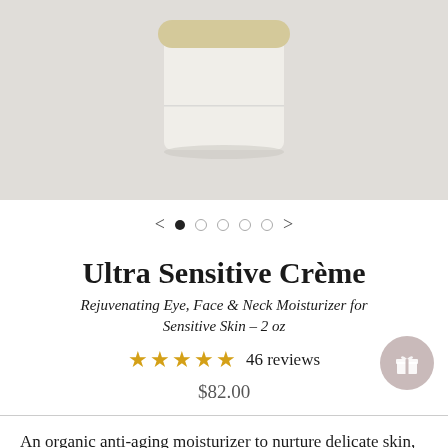[Figure (photo): Product photo of Ultra Sensitive Crème jar with white body and gold lid, on a light gray background]
< • ○ ○ ○ ○ >
Ultra Sensitive Crème
Rejuvenating Eye, Face & Neck Moisturizer for Sensitive Skin – 2 oz
★★★★★ 46 reviews
$82.00
An organic anti-aging moisturizer to nurture delicate skin, restore luminosity and reduce the